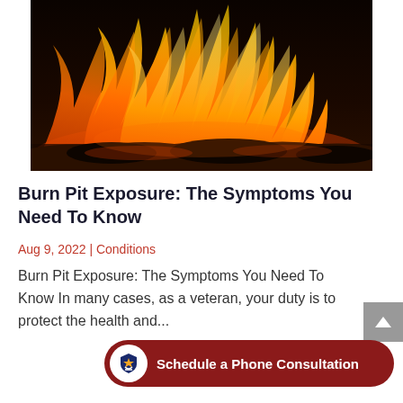[Figure (photo): Close-up photograph of orange and yellow flames burning against a dark background, with charred wood visible at the bottom.]
Burn Pit Exposure: The Symptoms You Need To Know
Aug 9, 2022 | Conditions
Burn Pit Exposure: The Symptoms You Need To Know In many cases, as a veteran, your duty is to protect the health and...